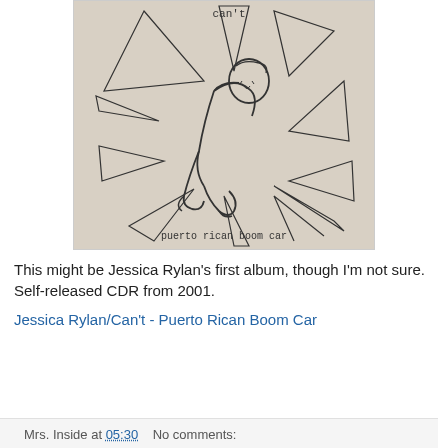[Figure (illustration): Album cover illustration: a figure kneeling with hands on head, surrounded by jagged lightning/explosion lines. Text at top reads 'can't' and at bottom 'puerto rican boom car'. Monochrome line drawing on beige/tan background.]
This might be Jessica Rylan's first album, though I'm not sure. Self-released CDR from 2001.
Jessica Rylan/Can't - Puerto Rican Boom Car
Mrs. Inside at 05:30   No comments: